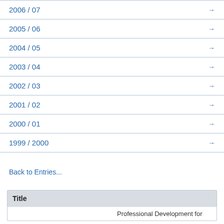2006 / 07 →
2005 / 06 →
2004 / 05 →
2003 / 04 →
2002 / 03 →
2001 / 02 →
2000 / 01 →
1999 / 2000 →
Back to Entries...
| Title |  |
| --- | --- |
|  | Professional Development for |